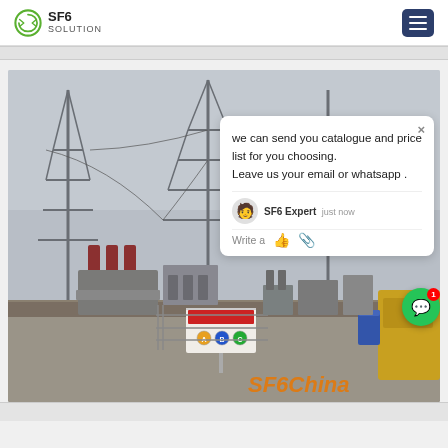SF6 SOLUTION
[Figure (photo): Electrical substation with high-voltage transmission towers, transformers, and equipment on a paved ground. A warning sign with colored phase indicators A, B, C is visible. A yellow vehicle is partially visible on the right. Watermark 'SF6China' in orange is at bottom right.]
we can send you catalogue and price list for you choosing. Leave us your email or whatsapp .
SF6 Expert   just now
Write a